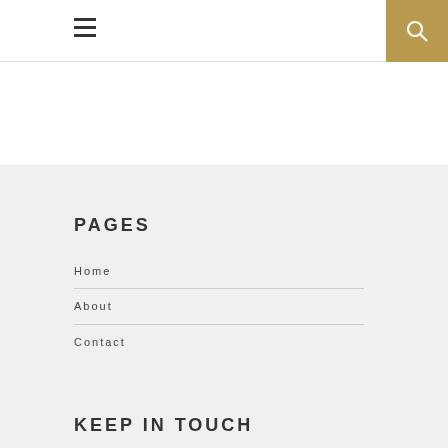Navigation bar with hamburger menu and search button
PAGES
Home
About
Contact
KEEP IN TOUCH